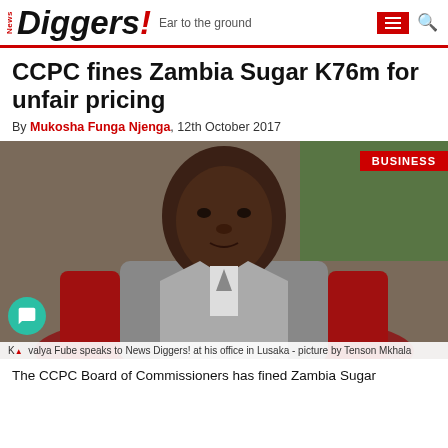News Diggers! Ear to the ground
CCPC fines Zambia Sugar K76m for unfair pricing
By Mukosha Funga Njenga,  12th October 2017
[Figure (photo): Portrait photo of a man seated in a red leather chair, wearing a grey suit. Background shows green curtains/flag. BUSINESS badge in top right corner.]
Kalumba Fube speaks to News Diggers! at his office in Lusaka - picture by Tenson Mkhala
The CCPC Board of Commissioners has fined Zambia Sugar